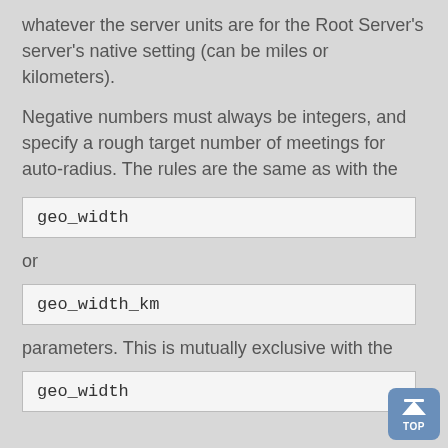whatever the server units are for the Root Server's server's native setting (can be miles or kilometers).
Negative numbers must always be integers, and specify a rough target number of meetings for auto-radius. The rules are the same as with the
geo_width
or
geo_width_km
parameters. This is mutually exclusive with the
geo_width